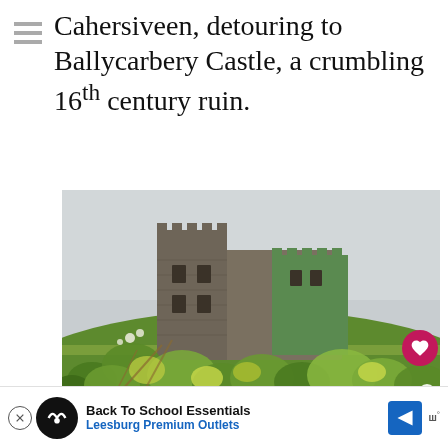Cahersiveen, detouring to Ballycarbery Castle, a crumbling 16th century ruin.
[Figure (photo): Photograph of Ballycarbery Castle, a ruined 16th century stone castle covered partially in ivy and moss, situated on a green hillside with wild plants and ivy in the foreground under an overcast sky.]
You don't need much time here, since
Back To School Essentials
Leesburg Premium Outlets